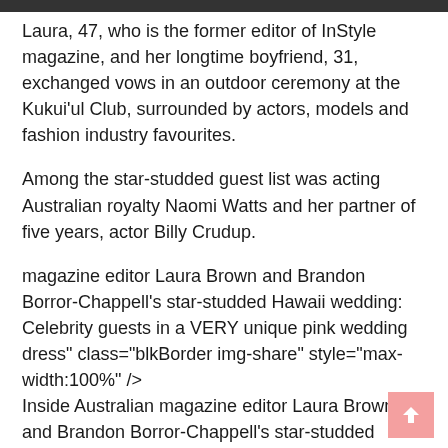Laura, 47, who is the former editor of InStyle magazine, and her longtime boyfriend, 31, exchanged vows in an outdoor ceremony at the Kukui'ul Club, surrounded by actors, models and fashion industry favourites.
Among the star-studded guest list was acting Australian royalty Naomi Watts and her partner of five years, actor Billy Crudup.
magazine editor Laura Brown and Brandon Borror-Chappell's star-studded Hawaii wedding: Celebrity guests in a VERY unique pink wedding dress" class="blkBorder img-share" style="max-width:100%" />
Inside Australian magazine editor Laura Brown and Brandon Borror-Chappell's star-studded Hawaii wedding: Celebrity guests in a VERY unique pink wedding dress
'That's what you call a MARRIAGE we all needed!!' Naomi captioned an Instagram photo of herself at the nuptials on Sunday.